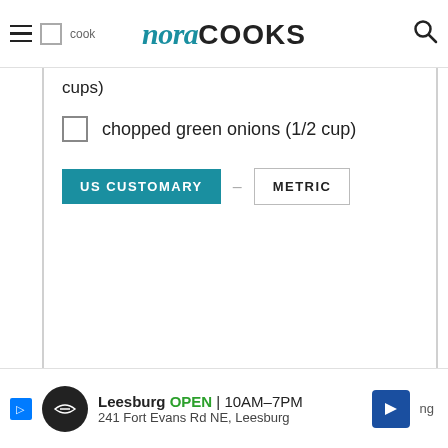nora COOKS
cups)
chopped green onions (1/2 cup)
US CUSTOMARY – METRIC
[Figure (screenshot): Advertisement banner: Leesburg OPEN 10AM–7PM, 241 Fort Evans Rd NE, Leesburg]